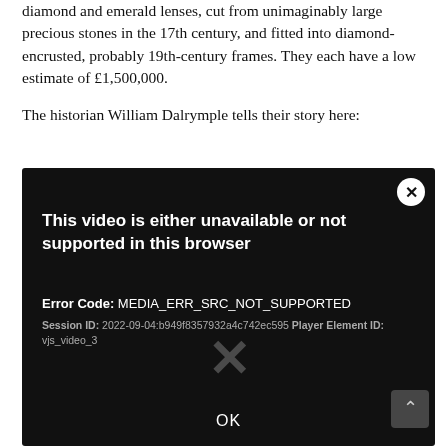diamond and emerald lenses, cut from unimaginably large precious stones in the 17th century, and fitted into diamond-encrusted, probably 19th-century frames. They each have a low estimate of £1,500,000.

The historian William Dalrymple tells their story here:
[Figure (screenshot): A video player showing an error message on a black background. The error reads: 'This video is either unavailable or not supported in this browser'. Error Code: MEDIA_ERR_SRC_NOT_SUPPORTED. Session ID: 2022-09-04:b949f8357932a4c742ec595 Player Element ID: vjs_video_3. A large X is visible in the center. An OK button is at the bottom. A close (X) button is in the top right corner.]